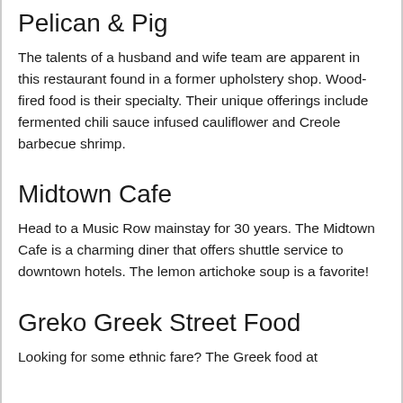Pelican & Pig
The talents of a husband and wife team are apparent in this restaurant found in a former upholstery shop. Wood-fired food is their specialty. Their unique offerings include fermented chili sauce infused cauliflower and Creole barbecue shrimp.
Midtown Cafe
Head to a Music Row mainstay for 30 years. The Midtown Cafe is a charming diner that offers shuttle service to downtown hotels. The lemon artichoke soup is a favorite!
Greko Greek Street Food
Looking for some ethnic fare? The Greek food at